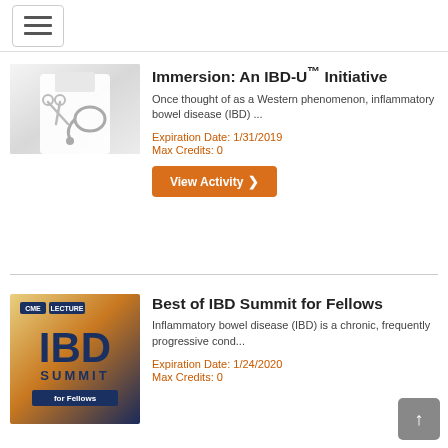Navigation menu (hamburger button)
[Figure (photo): Medical image showing stethoscope and scissors on white coat background]
Immersion: An IBD-U™ Initiative
Once thought of as a Western phenomenon, inflammatory bowel disease (IBD) ...
Expiration Date: 1/31/2019
Max Credits: 0
View Activity
[Figure (logo): CME Lecture IBD Summit for Fellows promotional image with dark blue and orange/gold gradient background]
Best of IBD Summit for Fellows
Inflammatory bowel disease (IBD) is a chronic, frequently progressive cond...
Expiration Date: 1/24/2020
Max Credits: 0